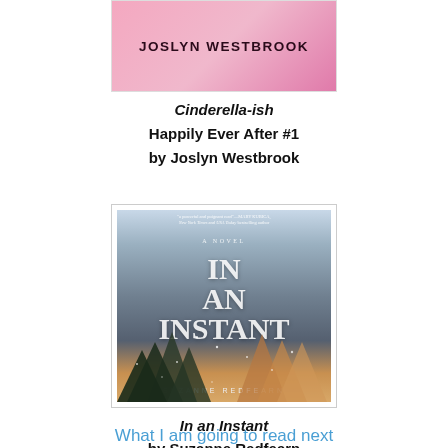[Figure (illustration): Book cover for Cinderella-ish by Joslyn Westbrook, pink background with author name in bold dark text]
Cinderella-ish
Happily Ever After #1
by Joslyn Westbrook
[Figure (illustration): Book cover for In an Instant by Suzanne Redfearn, showing snow-covered pine trees with the title in large white letters and author name below]
In an Instant
by Suzanne Redfearn
Narrated by Jesse Vilinsky
What I am going to read next